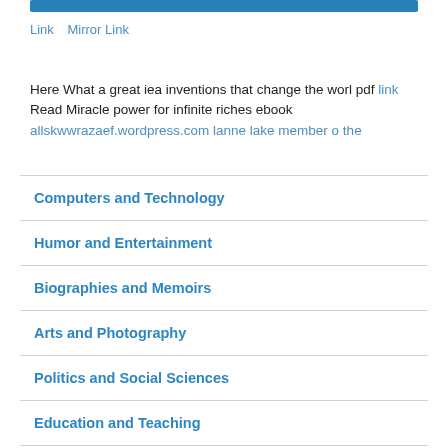[Figure (other): Blue horizontal bar/button at top]
Link   Mirror Link
Here What a great iea inventions that change the worl pdf link Read Miracle power for infinite riches ebook allskwwrazaef.wordpress.com lanne lake member o the
Computers and Technology
Humor and Entertainment
Biographies and Memoirs
Arts and Photography
Politics and Social Sciences
Education and Teaching